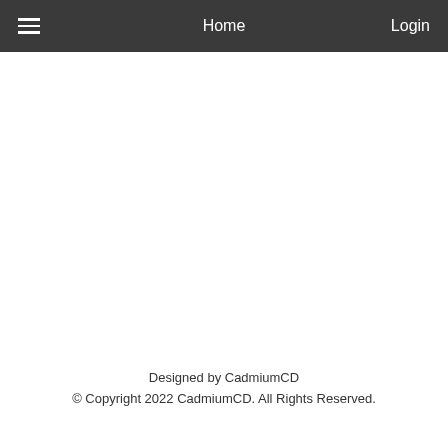≡   Home   Login
Designed by CadmiumCD
© Copyright 2022 CadmiumCD. All Rights Reserved.